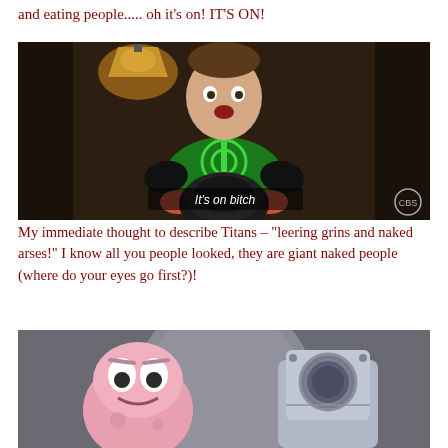and eating people..... oh it's on! IT'S ON!
[Figure (photo): Man in green superhero t-shirt holding a black helmet, with subtitle text 'It's on bitch']
My immediate thought to describe Titans – "leering grins and naked arses!" I know all you people looked, they are giant naked people (where do your eyes go first?)!
[Figure (photo): Cartoon characters - appears to be SpongeBob characters Patrick and a robot/metal character]